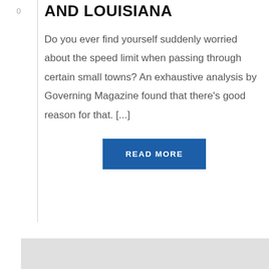AND LOUISIANA
Do you ever find yourself suddenly worried about the speed limit when passing through certain small towns? An exhaustive analysis by Governing Magazine found that there’s good reason for that. [...]
READ MORE